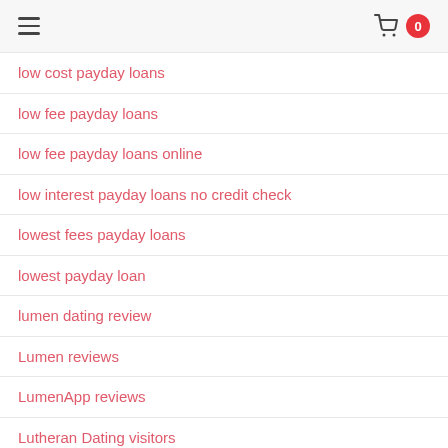≡  [cart icon] 0
low cost payday loans
low fee payday loans
low fee payday loans online
low interest payday loans no credit check
lowest fees payday loans
lowest payday loan
lumen dating review
Lumen reviews
LumenApp reviews
Lutheran Dating visitors
Luvfree free trial